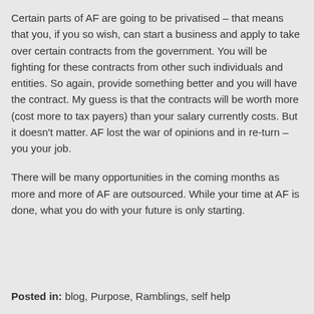Certain parts of AF are going to be privatised – that means that you, if you so wish, can start a business and apply to take over certain contracts from the government. You will be fighting for these contracts from other such individuals and entities. So again, provide something better and you will have the contract. My guess is that the contracts will be worth more (cost more to tax payers) than your salary currently costs. But it doesn't matter. AF lost the war of opinions and in re-turn – you your job.
There will be many opportunities in the coming months as more and more of AF are outsourced. While your time at AF is done, what you do with your future is only starting.
Posted in: blog, Purpose, Ramblings, self help